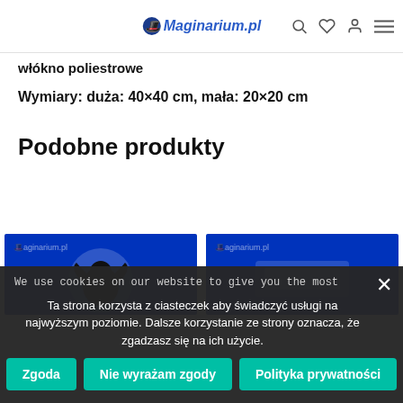Maginarium.pl
Materiał: 100% poliester
Wykończenie: zamknięcie na zamek, wypełnienie:
włókno poliestrowe
Wymiary: duża: 40×40 cm, mała: 20×20 cm
Podobne produkty
[Figure (photo): Product thumbnail showing maginarium.pl logo with dark fantasy character on blue background]
[Figure (photo): Product thumbnail showing maginarium.pl logo on blue background]
We use cookies on our website to give you the most
Ta strona korzysta z ciasteczek aby świadczyć usługi na najwyższym poziomie. Dalsze korzystanie ze strony oznacza, że zgadzasz się na ich użycie.
Zgoda
Nie wyrażam zgody
Polityka prywatności